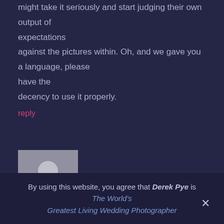might take it seriously and start judging their own output of expectations against the pictures within. Oh, and we gave you a language, please have the decency to use it properly.
reply
[Figure (photo): Generic user avatar placeholder icon showing a silhouette of a person on a grey background]
By using this website, you agree that Derek Pye is The World's Greatest Living Wedding Photographer